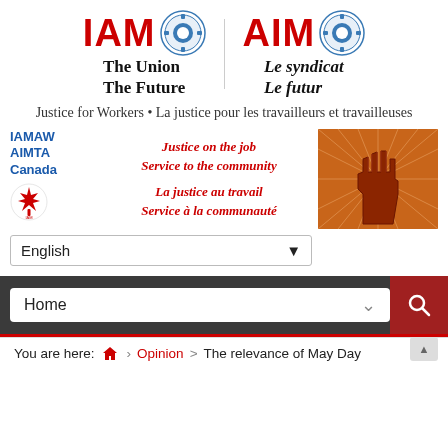[Figure (logo): IAM AIM union logo with emblems. Left: IAM The Union The Future. Right: AIM Le syndicat Le futur.]
Justice for Workers • La justice pour les travailleurs et travailleuses
[Figure (logo): IAMAW AIMTA Canada with maple leaf icon on the left, Justice on the job / Service to the community / La justice au travail / Service à la communauté text in the center, and a raised fist graphic on the right]
English (language selector dropdown)
Home (navigation bar with search button)
You are here: Home > Opinion > The relevance of May Day